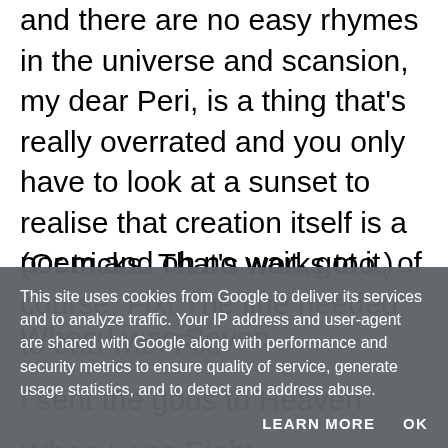and there are no easy rhymes in the universe and scansion, my dear Peri, is a thing that's really overrated and you only have to look at a sunset to realise that creation itself is a poem and oh no wait, got it, of course, Fix! The line needed to end with Fix!
(Or tricks. That's works too.)
When I was Seven
I sent the gods to Heaven
When I was Eight
This site uses cookies from Google to deliver its services and to analyze traffic. Your IP address and user-agent are shared with Google along with performance and security metrics to ensure quality of service, generate usage statistics, and to detect and address abuse.